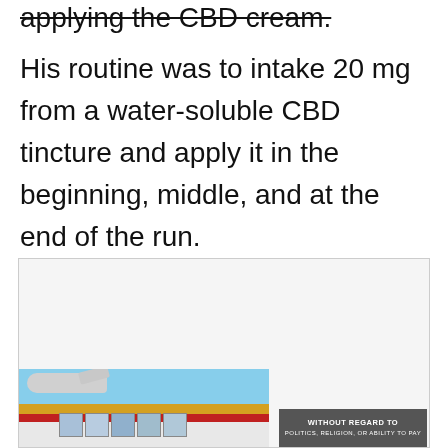applying the CBD cream.
His routine was to intake 20 mg from a water-soluble CBD tincture and apply it in the beginning, middle, and at the end of the run.
[Figure (photo): Advertisement box showing an airplane being loaded with cargo on the tarmac, with a banner overlay reading WITHOUT REGARD TO (POLITICS, RELIGION, OR ABILITY TO PAY)]